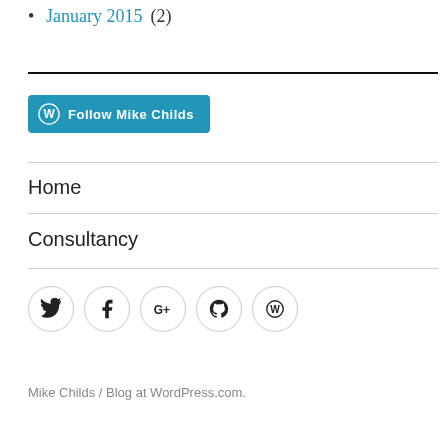January 2015 (2)
[Figure (other): Follow Mike Childs button with WordPress logo]
Home
Consultancy
[Figure (other): Social media icons: Twitter, Facebook, Google+, GitHub, WordPress]
Mike Childs / Blog at WordPress.com.